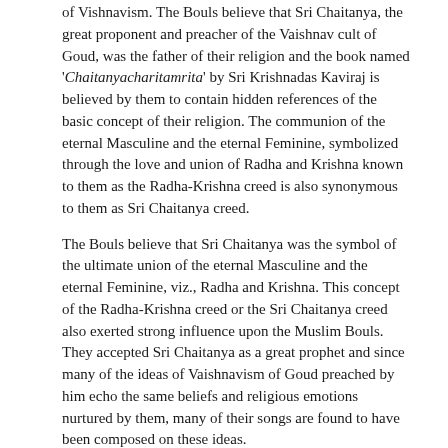of Vishnavism. The Bouls believe that Sri Chaitanya, the great proponent and preacher of the Vaishnav cult of Goud, was the father of their religion and the book named 'Chaitanyacharitamrita' by Sri Krishnadas Kaviraj is believed by them to contain hidden references of the basic concept of their religion. The communion of the eternal Masculine and the eternal Feminine, symbolized through the love and union of Radha and Krishna known to them as the Radha-Krishna creed is also synonymous to them as Sri Chaitanya creed.
The Bouls believe that Sri Chaitanya was the symbol of the ultimate union of the eternal Masculine and the eternal Feminine, viz., Radha and Krishna. This concept of the Radha-Krishna creed or the Sri Chaitanya creed also exerted strong influence upon the Muslim Bouls. They accepted Sri Chaitanya as a great prophet and since many of the ideas of Vaishnavism of Goud preached by him echo the same beliefs and religious emotions nurtured by them, many of their songs are found to have been composed on these ideas.
The Muslim Bouls were also greatly influenced by Sufism which believes that 'Noor' or the sublime glory of the Almighty Allah gets reflected in the 'Nabi' as the symbol of His all embracing love for the mankind and he exists in all men of the universe which He created. 'Nabi' according to their belief is the fullest manifestation of the power and glory of the Almighty. He is 'Insan-ul- Kamil', the complete Man.' The expression Al Insan-ul-Kamil, literally meaning - The Perfect Man - occurs for the first time in the writings of Ibn'ul'Arabi (Fusus-ul-Hikam) and it denotes the highest